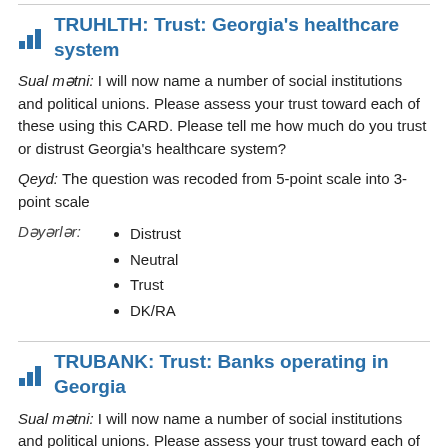TRUHLTH: Trust: Georgia's healthcare system
Sual mətni: I will now name a number of social institutions and political unions. Please assess your trust toward each of these using this CARD. Please tell me how much do you trust or distrust Georgia's healthcare system?
Qeyd: The question was recoded from 5-point scale into 3-point scale
Dəyərlər:
Distrust
Neutral
Trust
DK/RA
TRUBANK: Trust: Banks operating in Georgia
Sual mətni: I will now name a number of social institutions and political unions. Please assess your trust toward each of these using this CARD. Please tell me how much do you trust or distrust banks operating in Georgia?
Qeyd: The question was recoded from 5-point scale into 3-point